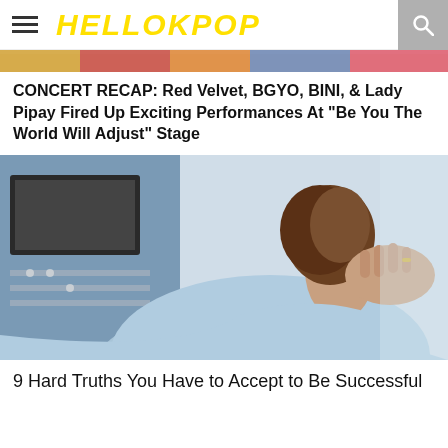HELLOKPOP
[Figure (photo): Colorful top image strip, partial view of a concert or event photo]
CONCERT RECAP: Red Velvet, BGYO, BINI, & Lady Pipay Fired Up Exciting Performances At "Be You The World Will Adjust" Stage
[Figure (photo): Person sitting at a computer, hand holding the back of their neck, suggesting neck pain or stress, wearing a light blue shirt]
9 Hard Truths You Have to Accept to Be Successful